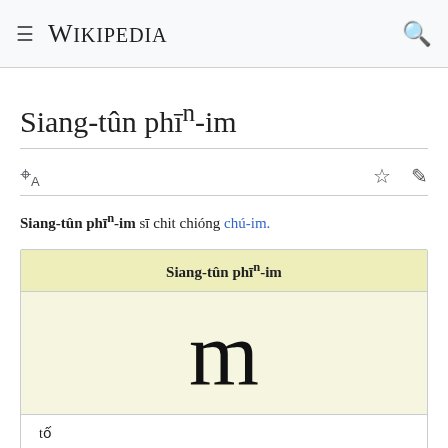Wikipedia
Siang-tûn phīⁿ-im
Siang-tûn phīⁿ-im sī chit chióng chú-im.
| Siang-tûn phīⁿ-im |
| --- |
| m (glyph) |
| tố |  |
| m |  |
| IPA pian-hō | 114 |